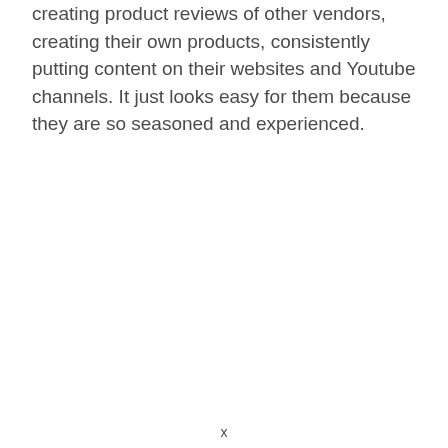creating product reviews of other vendors, creating their own products, consistently putting content on their websites and Youtube channels. It just looks easy for them because they are so seasoned and experienced.
x